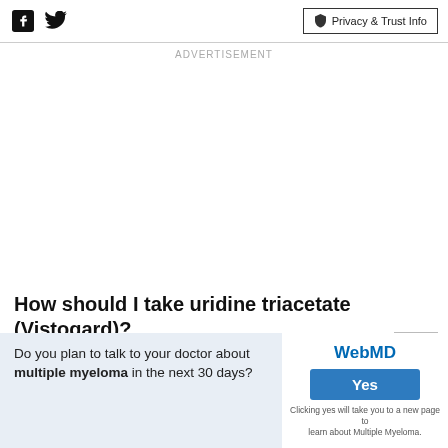Facebook | Twitter | Privacy & Trust Info
ADVERTISEMENT
How should I take uridine triacetate (Vistogard)?
ADVERTISEMENT
Do you plan to talk to your doctor about multiple myeloma in the next 30 days?
WebMD
Yes
Clicking yes will take you to a new page to learn about Multiple Myeloma.